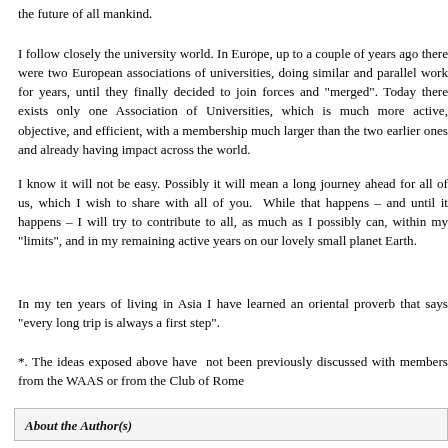the future of all mankind.
I follow closely the university world. In Europe, up to a couple of years ago there were two European associations of universities, doing similar and parallel work for years, until they finally decided to join forces and "merged". Today there exists only one Association of Universities, which is much more active, objective, and efficient, with a membership much larger than the two earlier ones and already having impact across the world.
I know it will not be easy. Possibly it will mean a long journey ahead for all of us, which I wish to share with all of you.  While that happens – and until it happens – I will try to contribute to all, as much as I possibly can, within my "limits", and in my remaining active years on our lovely small planet Earth.
In my ten years of living in Asia I have learned an oriental proverb that says "every long trip is always a first step".
*. The ideas exposed above have  not been previously discussed with members from the WAAS or from the Club of Rome
About the Author(s)